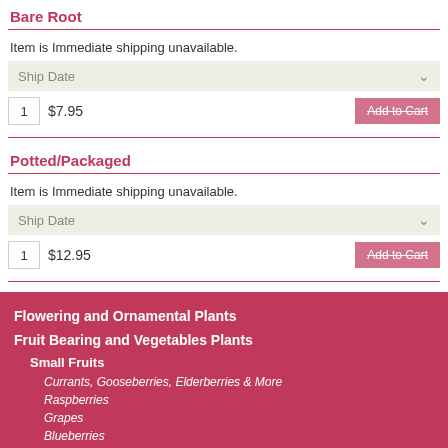Bare Root
Item is Immediate shipping unavailable.
Ship Date
1   $7.95   Add to Cart
Potted/Packaged
Item is Immediate shipping unavailable.
Ship Date
1   $12.95   Add to Cart
Flowering and Ornamental Plants
Fruit Bearing and Vegetables Plants
Small Fruits
Currants, Gooseberries, Elderberries & More
Raspberries
Grapes
Blueberries
Strawberries
Thornless Upright Blackberries
Fruit Trees
Perennial Vegetables